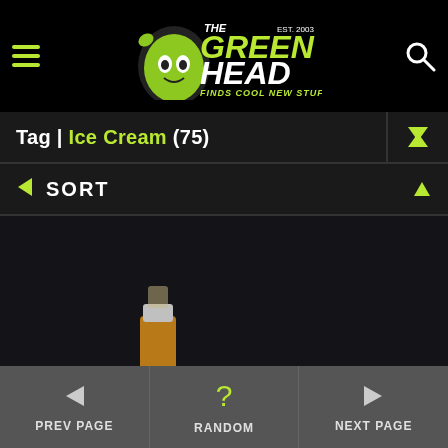The Green Head - Finds Cool New Stuff!
Tag | Ice Cream (75)
SORT
[Figure (photo): Product photo showing a Miller High Life beer bottle next to a box of Miller High Life Ice Cream Dive Bars with a chocolate-covered ice cream bar on a stick resting on top of the box, all on a dark background]
PREV PAGE | RANDOM | NEXT PAGE